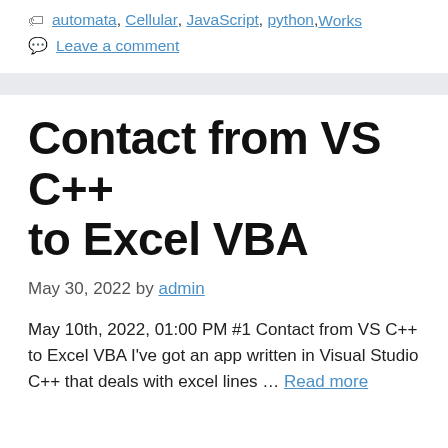automata, Cellular, JavaScript, python, Works
Leave a comment
Contact from VS C++ to Excel VBA
May 30, 2022 by admin
May 10th, 2022, 01:00 PM #1 Contact from VS C++ to Excel VBA I've got an app written in Visual Studio C++ that deals with excel lines … Read more